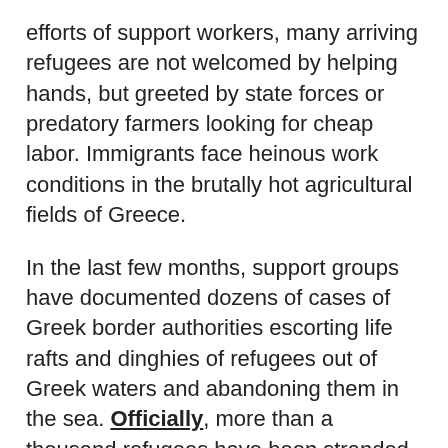efforts of support workers, many arriving refugees are not welcomed by helping hands, but greeted by state forces or predatory farmers looking for cheap labor. Immigrants face heinous work conditions in the brutally hot agricultural fields of Greece.
In the last few months, support groups have documented dozens of cases of Greek border authorities escorting life rafts and dinghies of refugees out of Greek waters and abandoning them in the sea. Officially, more than a thousand refugees have been stranded in the Aegean Sea; we assume the actual number is much higher. Greek border authorities have not only pushed refugees back towards Turkish territory, but gone so far as to shoot at inflatable rafts. The journey to asylum is